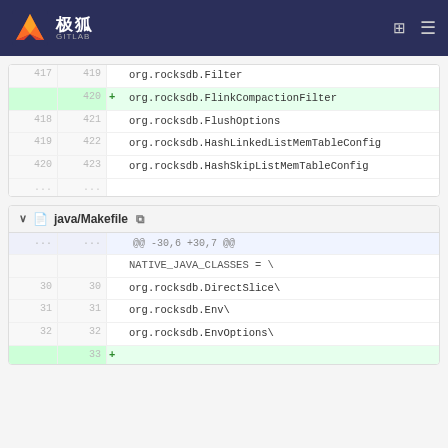极狐 GITLAB
| old | new | code |
| --- | --- | --- |
| 417 | 419 | org.rocksdb.Filter |
|  | 420 | + org.rocksdb.FlinkCompactionFilter |
| 418 | 421 | org.rocksdb.FlushOptions |
| 419 | 422 | org.rocksdb.HashLinkedListMemTableConfig |
| 420 | 423 | org.rocksdb.HashSkipListMemTableConfig |
| ... | ... |  |
java/Makefile
| old | new | code |
| --- | --- | --- |
| ... | ... | @@ -30,6 +30,7 @@ |
|  |  | NATIVE_JAVA_CLASSES = \ |
| 30 | 30 | org.rocksdb.DirectSlice\ |
| 31 | 31 | org.rocksdb.Env\ |
| 32 | 32 | org.rocksdb.EnvOptions\ |
|  | 33 | + |